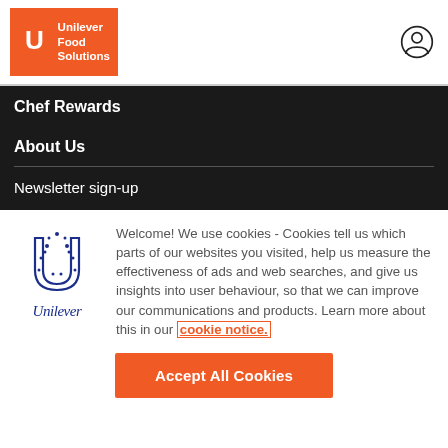[Figure (logo): Unilever Food Solutions logo on orange background with U symbol and text 'Unilever Food Solutions', plus user account icon on right]
Chef Rewards
About Us
Newsletter sign-up
[Figure (logo): Unilever blue U logo with Unilever wordmark below]
Welcome! We use cookies - Cookies tell us which parts of our websites you visited, help us measure the effectiveness of ads and web searches, and give us insights into user behaviour, so that we can improve our communications and products. Learn more about this in our cookie notice.
Accept All Cookies